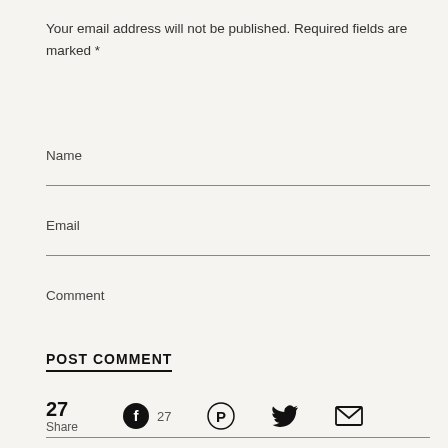Your email address will not be published. Required fields are marked *
Name
Email
Comment
POST COMMENT
27 Share
27